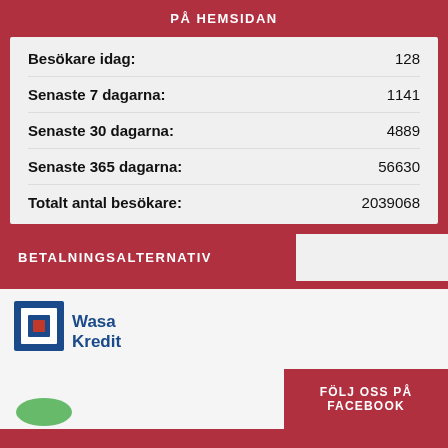PÅ HEMSIDAN
|  |  |
| --- | --- |
| Besökare idag: | 128 |
| Senaste 7 dagarna: | 1141 |
| Senaste 30 dagarna: | 4889 |
| Senaste 365 dagarna: | 56630 |
| Totalt antal besökare: | 2039068 |
BETALNINGSALTERNATIV
[Figure (logo): Wasa Kredit logo with blue geometric icon and blue text]
FÖLJ OSS PÅ FACEBOOK